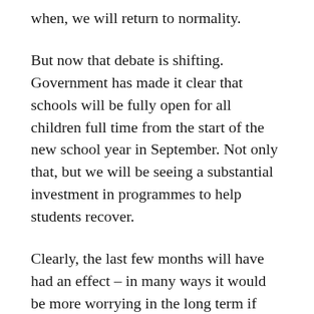when, we will return to normality.
But now that debate is shifting. Government has made it clear that schools will be fully open for all children full time from the start of the new school year in September. Not only that, but we will be seeing a substantial investment in programmes to help students recover.
Clearly, the last few months will have had an effect – in many ways it would be more worrying in the long term if there wasn't a significant impact of such a period of school closure (for most pupils). No matter how diligent teachers have been in setting up online curricula, we know they cannot replace the